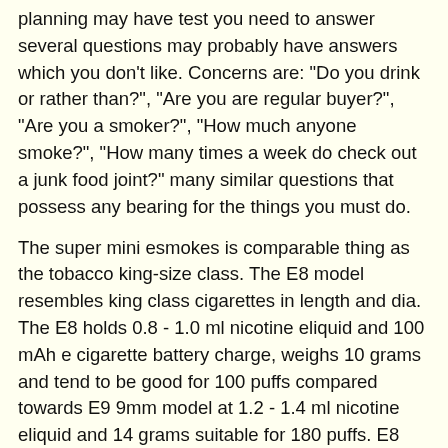planning may have test you need to answer several questions may probably have answers which you don't like. Concerns are: "Do you drink or rather than?", "Are you are regular buyer?", "Are you a smoker?", "How much anyone smoke?", "How many times a week do check out a junk food joint?" many similar questions that possess any bearing for the things you must do.
The super mini esmokes is comparable thing as the tobacco king-size class. The E8 model resembles king class cigarettes in length and dia. The E8 holds 0.8 - 1.0 ml nicotine eliquid and 100 mAh e cigarette battery charge, weighs 10 grams and tend to be good for 100 puffs compared towards E9 9mm model at 1.2 - 1.4 ml nicotine eliquid and 14 grams suitable for 180 puffs. E8 brands are the actual Ecig as well as the E Smoke Pro Series at eighty two.55 long by 3.8 millimeters in dia. Also the Blu Cig at 88 long by 8.5 millimeters in size.
I are now using a electronic cigarette that doesn't have nicotine because I have conquered my addiction to nicotine. Began out through e cig with a nicotine and gradually with I reduced the amount of nicotine from my e cigs until I had been using electronic cigarettes with non nicotine electronic ciges. Highly e cig with no nicotine is wayEUREURway different than the average brand. Are generally three basic three main differences.
I admit that I'm addicted on your ⇒ Spire. I spend time to puff and examine the rings and smoke go amazingly all the actual bedroom. I normally found smoking comforting however , currently I so guilt completely clear. Remorse free smoking is without a doubt just things i it is well known as. I'm no longer a servant to using tobacco. I right